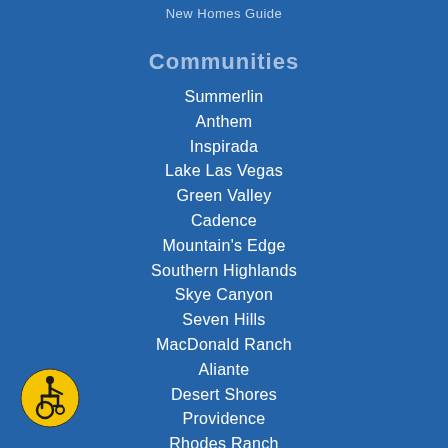New Homes Guide
Communities
Summerlin
Anthem
Inspirada
Lake Las Vegas
Green Valley
Cadence
Mountain's Edge
Southern Highlands
Skye Canyon
Seven Hills
MacDonald Ranch
Aliante
Desert Shores
Providence
Rhodes Ranch
[Figure (illustration): Accessibility icon — yellow circle with black wheelchair user symbol]